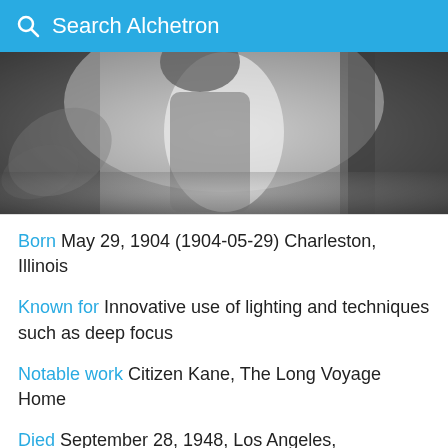Search Alchetron
[Figure (photo): Black and white photograph of a person, partially visible, grayscale tones]
Born  May 29, 1904 (1904-05-29) Charleston, Illinois
Known for  Innovative use of lighting and techniques such as deep focus
Notable work  Citizen Kane, The Long Voyage Home
Died  September 28, 1948, Los Angeles, California, United States